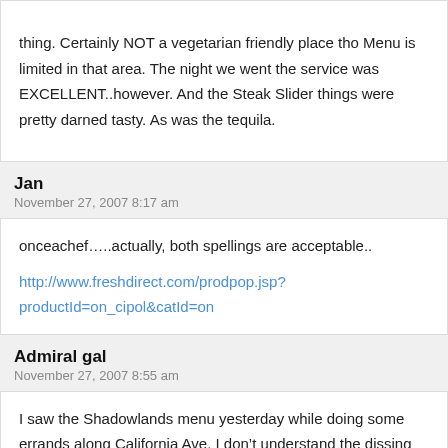thing. Certainly NOT a vegetarian friendly place tho Menu is limited in that area. The night we went the service was EXCELLENT..however. And the Steak Slider things were pretty darned tasty. As was the tequila.
Jan
November 27, 2007 8:17 am
onceachef…..actually, both spellings are acceptable..

http://www.freshdirect.com/prodpop.jsp?productId=on_cipol&catId=on
Admiral gal
November 27, 2007 8:55 am
I saw the Shadowlands menu yesterday while doing some errands along California Ave. I don't understand the dissing on prices? The place offers what look like nice drinks and paying over $20 for an entree is standard in a decent place, unless you're getting Thai or Chinese or something, in a neon-lit restaurant. The whole “small plates” thing in restaurants is sort of a misnomer — some small plates are smaller than others. At Black Bottle in Belltown, for instance, a few of...